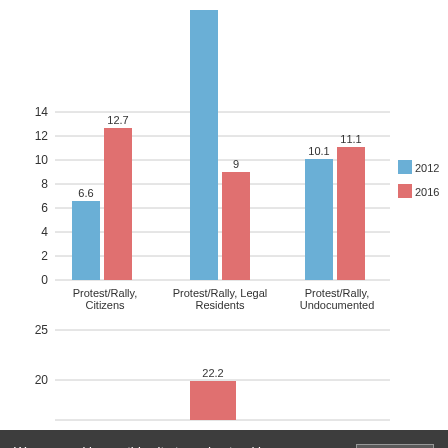[Figure (grouped-bar-chart): Protest participation rates by immigration status]
[Figure (bar-chart): Second chart partial]
We use cookies on this site to understand how you use our content, and to give you the best browsing experience. To accept cookies, click continue. To find out more about cookies and change your preferences, visit our Cookie Policy.